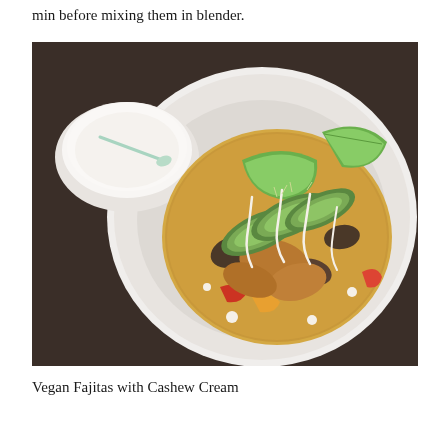min before mixing them in blender.
[Figure (photo): Overhead view of a white plate with a corn tortilla topped with vegan fajita filling including avocado slices, sautéed peppers and vegetables, drizzled with cashew cream. A small white bowl of cashew cream with a spoon is visible to the upper left. Two lime wedges garnish the plate. The plate sits on a dark surface.]
Vegan Fajitas with Cashew Cream